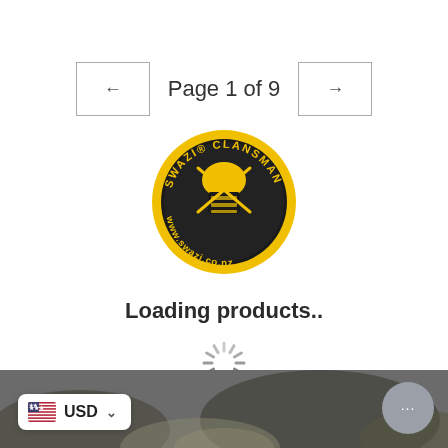← [prev button]
Page 1 of 9
→ [next button]
[Figure (logo): Swazi Clansman circular logo with yellow and black design, text: SWAZI CLANSMAN www.swazi.co.nz]
Loading products..
[Figure (other): Loading spinner graphic (gray radial lines)]
[Figure (photo): Bottom strip showing partial outdoor/nature background image, dark/blurred]
USD ∨
...